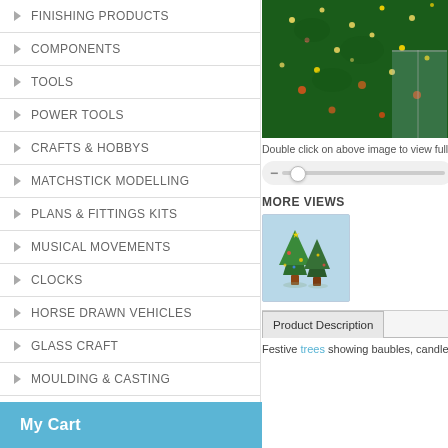FINISHING PRODUCTS
COMPONENTS
TOOLS
POWER TOOLS
CRAFTS & HOBBYS
MATCHSTICK MODELLING
PLANS & FITTINGS KITS
MUSICAL MOVEMENTS
CLOCKS
HORSE DRAWN VEHICLES
GLASS CRAFT
MOULDING & CASTING
BOOKS, VIDEOS, DVDS
[Figure (photo): Christmas tree with lights and decorations (cropped top portion)]
Double click on above image to view full pi
[Figure (photo): Two small festive Christmas tree decorations showing baubles, candles and greenery]
MORE VIEWS
Product Description
Festive trees showing baubles, candles ar